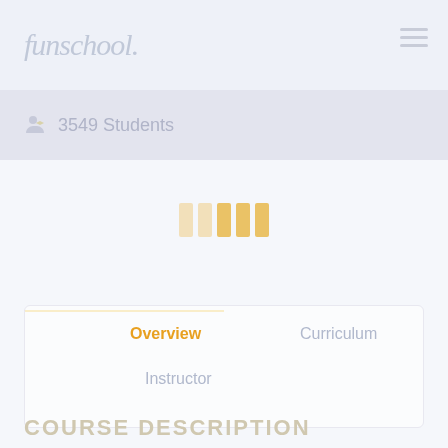funschool
3549 Students
[Figure (infographic): Loading animation with 5 vertical orange bars of varying opacity, centered on the page]
Overview
Curriculum
Instructor
COURSE DESCRIPTION